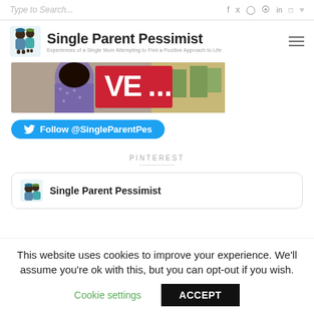Type to Search...
Single Parent Pessimist
Experiences of a Single Mum Attempting to Find a Positive Approach to Life
[Figure (photo): Banner image showing a woman with a red sign, outdoors]
Follow @SingleParentPes
PINTEREST
Single Parent Pessimist
This website uses cookies to improve your experience. We'll assume you're ok with this, but you can opt-out if you wish.
Cookie settings
ACCEPT